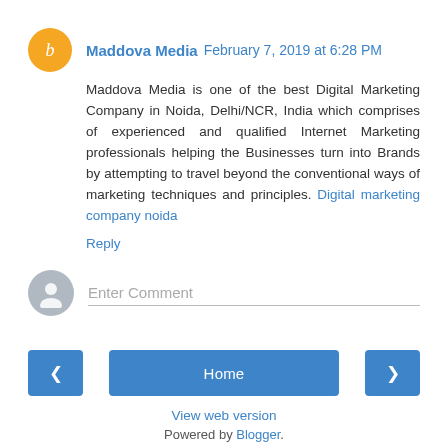Maddova Media  February 7, 2019 at 6:28 PM
Maddova Media is one of the best Digital Marketing Company in Noida, Delhi/NCR, India which comprises of experienced and qualified Internet Marketing professionals helping the Businesses turn into Brands by attempting to travel beyond the conventional ways of marketing techniques and principles. Digital marketing company noida
Reply
Enter Comment
Home
View web version
Powered by Blogger.